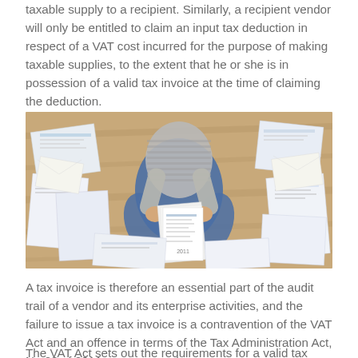taxable supply to a recipient. Similarly, a recipient vendor will only be entitled to claim an input tax deduction in respect of a VAT cost incurred for the purpose of making taxable supplies, to the extent that he or she is in possession of a valid tax invoice at the time of claiming the deduction.
[Figure (photo): Overhead view of a person sitting on a wooden floor surrounded by many papers and documents, holding a stack of tax invoices or receipts.]
A tax invoice is therefore an essential part of the audit trail of a vendor and its enterprise activities, and the failure to issue a tax invoice is a contravention of the VAT Act and an offence in terms of the Tax Administration Act, No 28 of 2011.
The VAT Act sets out the requirements for a valid tax invoice